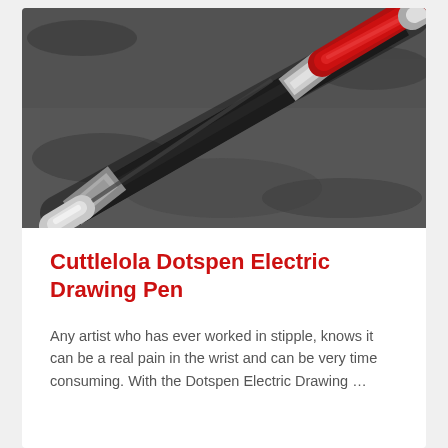[Figure (photo): Close-up photograph of a Cuttlelola Dotspen Electric Drawing Pen lying on a textured dark graphite/charcoal-dusted surface. The pen has a black rubber grip section, a silver metallic tip, and a red and silver upper barrel.]
Cuttlelola Dotspen Electric Drawing Pen
Any artist who has ever worked in stipple, knows it can be a real pain in the wrist and can be very time consuming. With the Dotspen Electric Drawing …